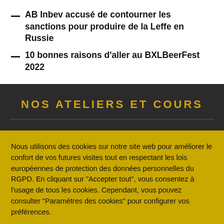AB Inbev accusé de contourner les sanctions pour produire de la Leffe en Russie
10 bonnes raisons d'aller au BXLBeerFest 2022
NOS ATELIERS ET COURS
Nous utilisons des cookies sur notre site web pour améliorer le confort de vos futures visites tout en respectant les lois européennes de protection des données personnelles du RGPD. En cliquant sur "Accepter tout", vous consentez à l'usage de tous les cookies. Cependant, vous pouvez consulter "Paramètres des cookies" pour configurer vos préférences.
Paramètres des cookies
Accepter tout